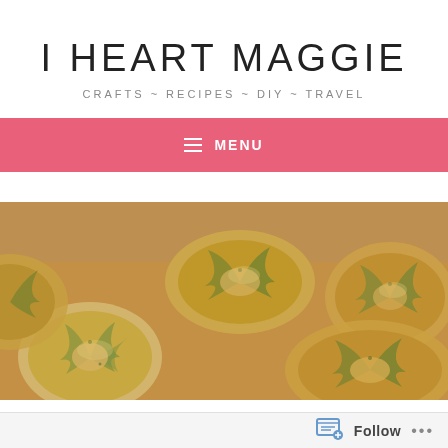I HEART MAGGIE
CRAFTS ~ RECIPES ~ DIY ~ TRAVEL
≡  MENU
[Figure (photo): Overhead close-up photo of baked pesto pinwheel pastries on a baking sheet, golden-brown spiral rolls with green herb filling]
Follow ...